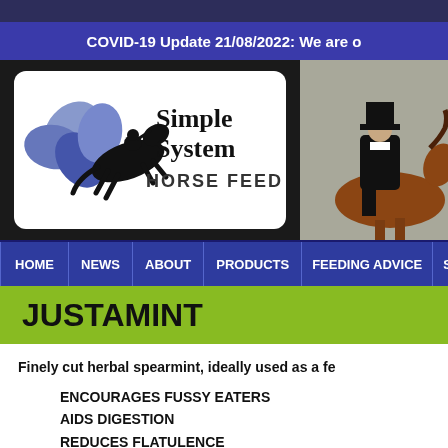COVID-19 Update 21/08/2022: We are o
[Figure (logo): Simple System Horse Feeds logo with horse jumping silhouette and blue clover/petal shapes]
[Figure (photo): Dressage rider on chestnut horse wearing formal black attire and top hat]
HOME | NEWS | ABOUT | PRODUCTS | FEEDING ADVICE | SUP
JUSTAMINT
Finely cut herbal spearmint, ideally used as a fe
ENCOURAGES FUSSY EATERS
AIDS DIGESTION
REDUCES FLATULENCE